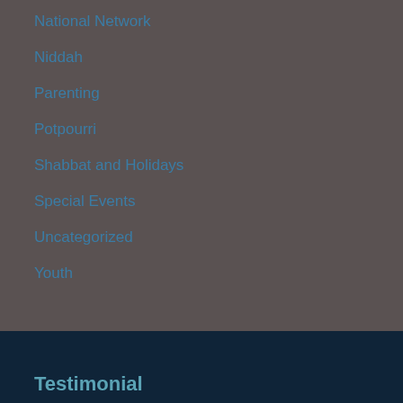National Network
Niddah
Parenting
Potpourri
Shabbat and Holidays
Special Events
Uncategorized
Youth
Testimonial